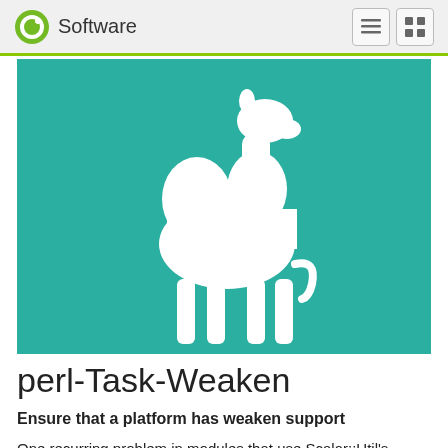Software
[Figure (illustration): Teal/turquoise background with a white camel silhouette (Perl programming language mascot) centered in the upper portion of the image.]
perl-Task-Weaken
Ensure that a platform has weaken support
One recurring problem in modules that use Scalar::Util's 'weaken' function is that it is not present in the pure-perl